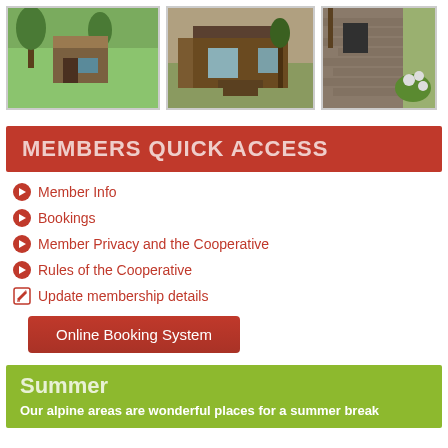[Figure (photo): Three photos of alpine cabin/lodge buildings]
MEMBERS QUICK ACCESS
Member Info
Bookings
Member Privacy and the Cooperative
Rules of the Cooperative
Update membership details
Online Booking System
Summer
Our alpine areas are wonderful places for a summer break